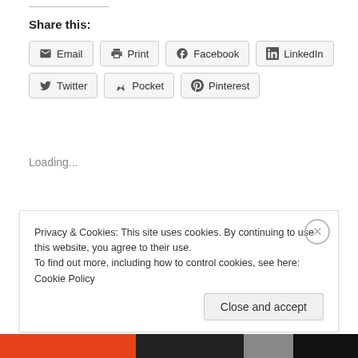Share this:
Email
Print
Facebook
LinkedIn
Twitter
Pocket
Pinterest
Loading...
Tagged: CSR, Volunteering
Privacy & Cookies: This site uses cookies. By continuing to use this website, you agree to their use. To find out more, including how to control cookies, see here: Cookie Policy
Close and accept